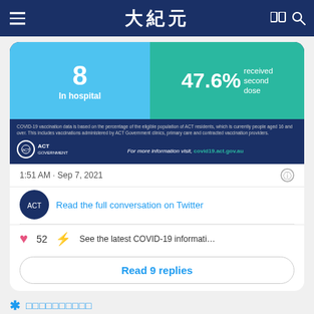大紀元
[Figure (screenshot): ACT Government COVID-19 statistics infographic showing 8 in hospital and 47.6% received second dose, with ACT Government logo and covid19.act.gov.au URL]
1:51 AM · Sep 7, 2021
Read the full conversation on Twitter
52  See the latest COVID-19 information on T...
Read 9 replies
＊ □□□□□□□□□□
Annastacia Palaszczuk ✓